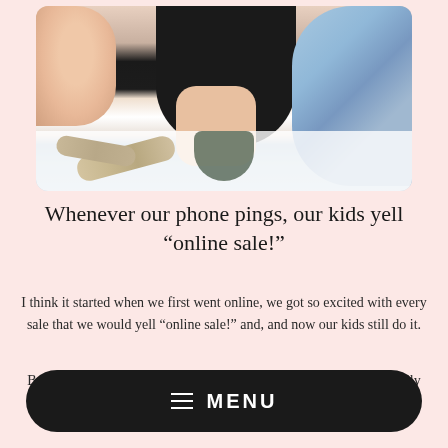[Figure (photo): A family photo showing people seated at a dining table with Christmas crackers and dishes. A person in a dark shirt is in the centre, someone in a blue palm-tree printed shirt is on the right, and another person is on the left. The table has white paper crackers and various items on it.]
Whenever our phone pings, our kids yell "online sale!"
I think it started when we first went online, we got so excited with every sale that we would yell "online sale!" and, and now our kids still do it.
By choosing us, you are choosing to support a small Australian family business.
≡  MENU